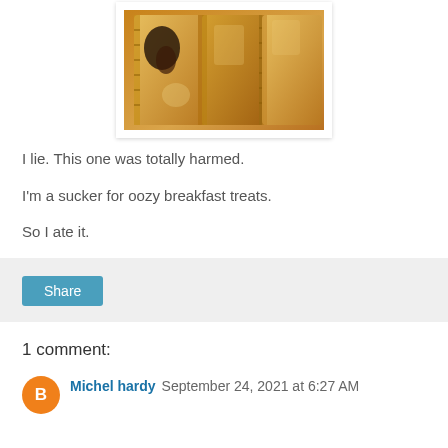[Figure (photo): Close-up photo of golden-brown pastry tarts with jam filling, showing crimped edges and a slightly burnt filling]
I lie. This one was totally harmed.
I'm a sucker for oozy breakfast treats.
So I ate it.
Share
1 comment:
Michel hardy September 24, 2021 at 6:27 AM